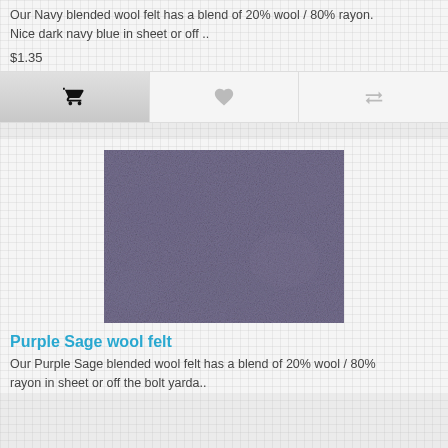Our Navy blended wool felt has a blend of 20% wool / 80% rayon. Nice dark navy blue in sheet or off ..
$1.35
[Figure (illustration): Purple Sage blended wool felt fabric swatch — muted purple/grey textured square]
Purple Sage wool felt
Our Purple Sage blended wool felt has a blend of 20% wool / 80% rayon in sheet or off the bolt yarda..